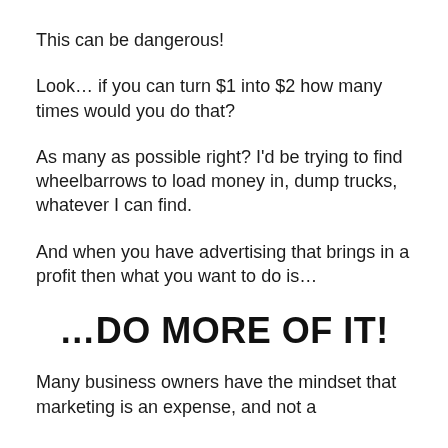This can be dangerous!
Look… if you can turn $1 into $2 how many times would you do that?
As many as possible right? I'd be trying to find wheelbarrows to load money in, dump trucks, whatever I can find.
And when you have advertising that brings in a profit then what you want to do is…
…DO MORE OF IT!
Many business owners have the mindset that marketing is an expense, and not a